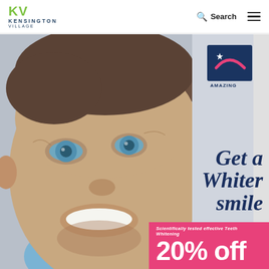[Figure (logo): Kensington Village logo with green KV letters and dark blue text]
Search
[Figure (photo): Smiling man with short brown hair and stubble, bright white teeth, blue eyes, light blue shirt. Background is light grey. Amazing Smiles logo in top right corner. Script text reads 'Get a Whiter smile'. Pink banner at bottom shows '20% off' with text 'Scientifically tested effective Teeth Whitening'.]
[Figure (logo): Amazing Smiles logo: dark navy blue square with pink arc/smile and white star, text AMAZING SMILES below]
Get a Whiter smile
Scientifically tested effective Teeth Whitening
20% off